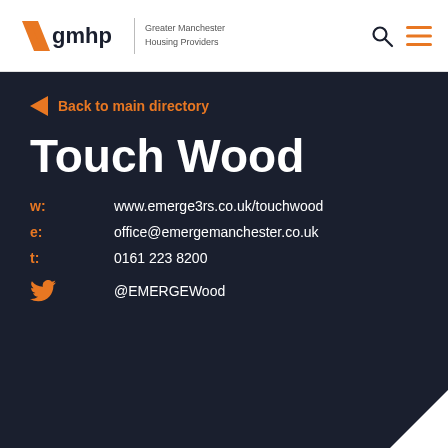[Figure (logo): GMHP Greater Manchester Housing Providers logo with orange diagonal stripe mark and gmhp text, plus search and menu icons in header]
Back to main directory
Touch Wood
w: www.emerge3rs.co.uk/touchwood
e: office@emergemanchester.co.uk
t: 0161 223 8200
@EMERGEWood